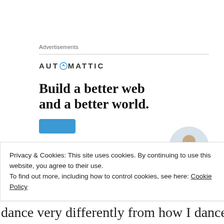Advertisements
[Figure (logo): Automattic logo with compass icon replacing the 'O']
[Figure (advertisement): Automattic advertisement with headline 'Build a better web and a better world.' with a blue CTA button and a circular photo of a person]
Privacy & Cookies: This site uses cookies. By continuing to use this website, you agree to their use.
To find out more, including how to control cookies, see here: Cookie Policy
Close and accept
dance very differently from how I danced before I came